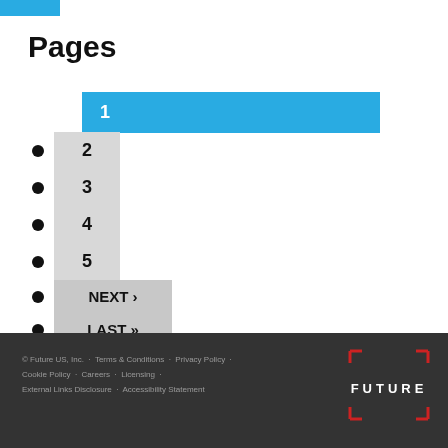Pages
1
2
3
4
5
NEXT ›
LAST »
© Future US, Inc.  ·  Terms & Conditions  ·  Privacy Policy  ·  Cookie Policy  ·  Careers  ·  Licensing  ·  External Links Disclosure  ·  Accessibility Statement